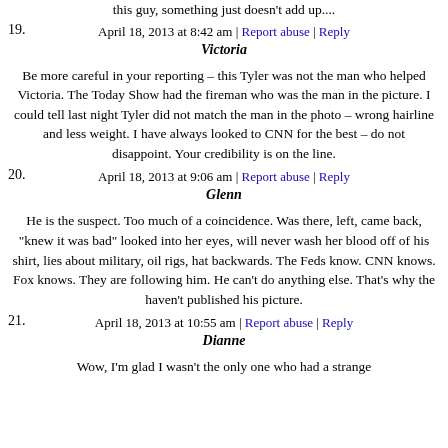this guy, something just doesn't add up....
April 18, 2013 at 8:42 am | Report abuse | Reply
19. Victoria
Be more careful in your reporting – this Tyler was not the man who helped Victoria. The Today Show had the fireman who was the man in the picture. I could tell last night Tyler did not match the man in the photo – wrong hairline and less weight. I have always looked to CNN for the best – do not disappoint. Your credibility is on the line.
April 18, 2013 at 9:06 am | Report abuse | Reply
20. Glenn
He is the suspect. Too much of a coincidence. Was there, left, came back, "knew it was bad" looked into her eyes, will never wash her blood off of his shirt, lies about military, oil rigs, hat backwards. The Feds know. CNN knows. Fox knows. They are following him. He can't do anything else. That's why the haven't published his picture.
April 18, 2013 at 10:55 am | Report abuse | Reply
21. Dianne
Wow, I'm glad I wasn't the only one who had a strange